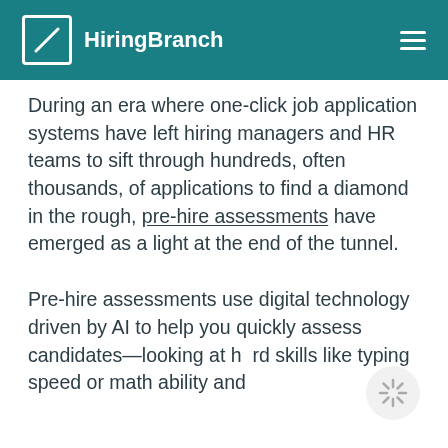HiringBranch
During an era where one-click job application systems have left hiring managers and HR teams to sift through hundreds, often thousands, of applications to find a diamond in the rough, pre-hire assessments have emerged as a light at the end of the tunnel.
Pre-hire assessments use digital technology driven by AI to help you quickly assess candidates—looking at hard skills like typing speed or math ability and